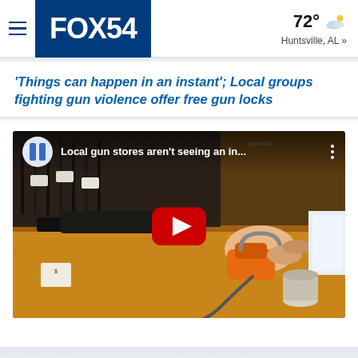FOX54  72° Huntsville, AL »
'Things can happen in an instant'; Local groups fighting gun violence offer free gun locks
[Figure (screenshot): YouTube video thumbnail showing a hand holding an orange gun lock attached to a black pistol in a gun store. Video title overlay reads: 'Local gun stores aren't seeing an in...' with YouTube-style play button in center.]